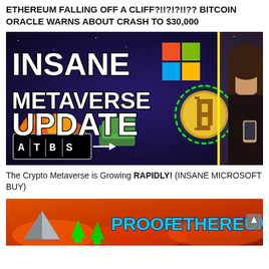ETHEREUM FALLING OFF A CLIFF?!!?!?!!?? BITCOIN ORACLE WARNS ABOUT CRASH TO $30,000
[Figure (screenshot): YouTube thumbnail: dark space background with text 'INSANE METAVERSE UPDATE', Microsoft logo, pixel art Bitcoin coin with green glow, pile of money, explosion graphic, woman looking shocked holding phone, ATBS logo with arrow.]
The Crypto Metaverse is Growing RAPIDLY! (INSANE MICROSOFT BUY)
[Figure (screenshot): YouTube thumbnail showing 'PROOF ETHEREUM' text in blue on orange/fire background with green upward arrows and a silver pyramid shape.]